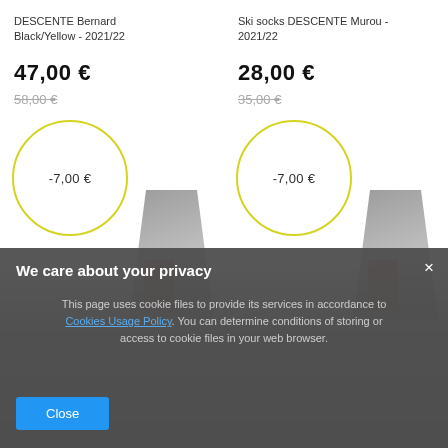DESCENTE Bernard Black/Yellow - 2021/22
47,00 €
58,00 €
[Figure (other): Product image with yellow discount circle showing -7,00 € (left product)]
Ski socks DESCENTE Murou - 2021/22
28,00 €
35,00 €
[Figure (other): Product image with yellow discount circle showing -7,00 € (right product)]
We care about your privacy
This page uses cookie files to provide its services in accordance to Cookies Usage Policy. You can determine conditions of storing or access to cookie files in your web browser.
Close